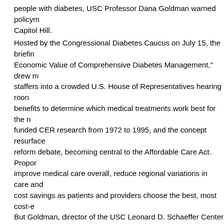people with diabetes, USC Professor Dana Goldman warned policym Capitol Hill.
Hosted by the Congressional Diabetes Caucus on July 15, the briefin Economic Value of Comprehensive Diabetes Management," drew m staffers into a crowded U.S. House of Representatives hearing roon benefits to determine which medical treatments work best for the n funded CER research from 1972 to 1995, and the concept resurface reform debate, becoming central to the Affordable Care Act. Propor improve medical care overall, reduce regional variations in care and cost savings as patients and providers choose the best, most cost-e But Goldman, director of the USC Leonard D. Schaeffer Center for F Economics, which is jointly housed at the USC Price School of Publi of Pharmacy, urged caution. Care must be taken in applying CER to optimal treatment for each patient is different, he said.
According to Goldman, "the problem is: What are the implications fo
'Diabetes is patient-specific'
Diabetes patients will be hurt if "the ultimate effect of this is we will steering patients to the cheaper drug because of CER," he said.
"Diabetes is patient-specific, while payers make product-specific de
"So there's natural tension."